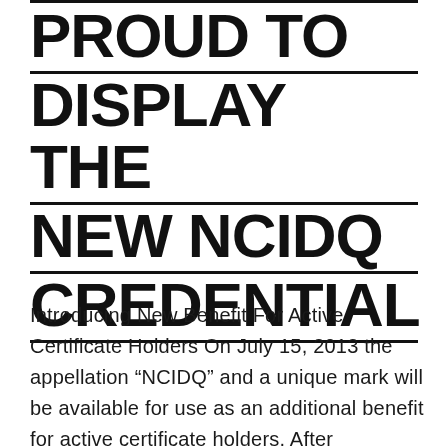PROUD TO DISPLAY THE NEW NCIDQ CREDENTIAL
Introducing New Benefit For Active Certificate Holders On July 15, 2013 the appellation “NCIDQ” and a unique mark will be available for use as an additional benefit for active certificate holders. After completing the terms and conditions on their MyNCIDQ online account, active NCIDQ Certificate holders will have the option to sign